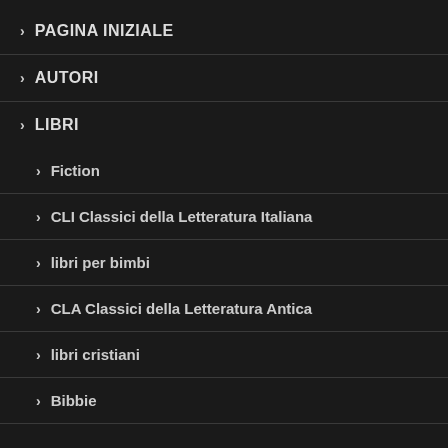> PAGINA INIZIALE
> AUTORI
> LIBRI
> Fiction
> CLI Classici della Letteratura Italiana
> libri per bimbi
> CLA Classici della Letteratura Antica
> libri cristiani
> Bibbie